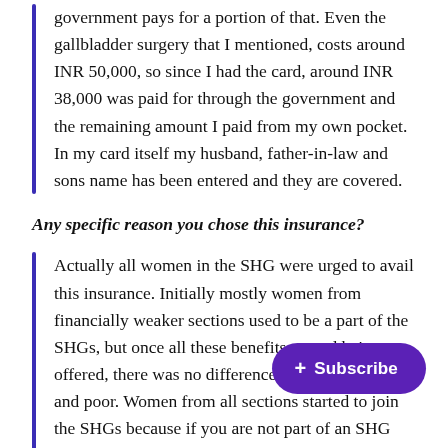government pays for a portion of that. Even the gallbladder surgery that I mentioned, costs around INR 50,000, so since I had the card, around INR 38,000 was paid for through the government and the remaining amount I paid from my own pocket. In my card itself my husband, father-in-law and sons name has been entered and they are covered.
Any specific reason you chose this insurance?
Actually all women in the SHG were urged to avail this insurance. Initially mostly women from financially weaker sections used to be a part of the SHGs, but once all these benefits started being offered, there was no difference between the rich and poor. Women from all sections started to join the SHGs because if you are not part of an SHG then you won't get loans easily, you won't